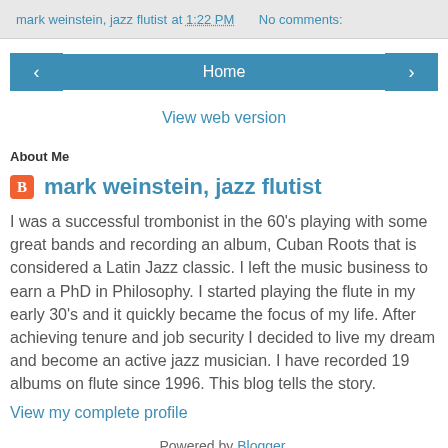mark weinstein, jazz flutist at 1:22 PM    No comments:
[Figure (other): Navigation buttons: left arrow, Home, right arrow]
View web version
About Me
mark weinstein, jazz flutist
I was a successful trombonist in the 60's playing with some great bands and recording an album, Cuban Roots that is considered a Latin Jazz classic. I left the music business to earn a PhD in Philosophy. I started playing the flute in my early 30's and it quickly became the focus of my life. After achieving tenure and job security I decided to live my dream and become an active jazz musician. I have recorded 19 albums on flute since 1996. This blog tells the story.
View my complete profile
Powered by Blogger.